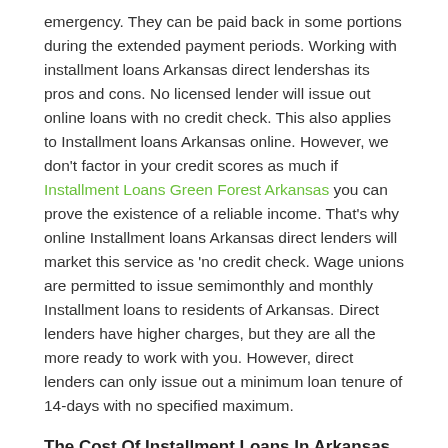emergency. They can be paid back in some portions during the extended payment periods. Working with installment loans Arkansas direct lendershas its pros and cons. No licensed lender will issue out online loans with no credit check. This also applies to Installment loans Arkansas online. However, we don't factor in your credit scores as much if Installment Loans Green Forest Arkansas you can prove the existence of a reliable income. That's why online Installment loans Arkansas direct lenders will market this service as 'no credit check. Wage unions are permitted to issue semimonthly and monthly Installment loans to residents of Arkansas. Direct lenders have higher charges, but they are all the more ready to work with you. However, direct lenders can only issue out a minimum loan tenure of 14-days with no specified maximum.
The Cost Of Installment Loans In Arkansas